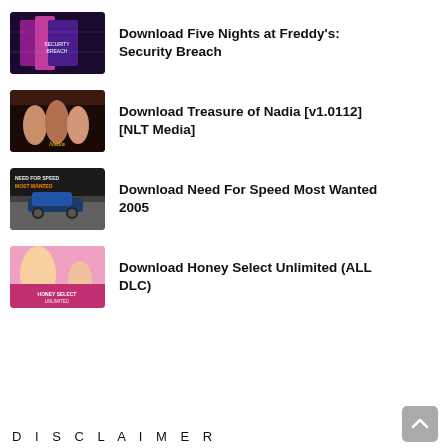Download Five Nights at Freddy's: Security Breach
Download Treasure of Nadia [v1.0112] [NLT Media]
Download Need For Speed Most Wanted 2005
Download Honey Select Unlimited (ALL DLC)
DISCLAIMER